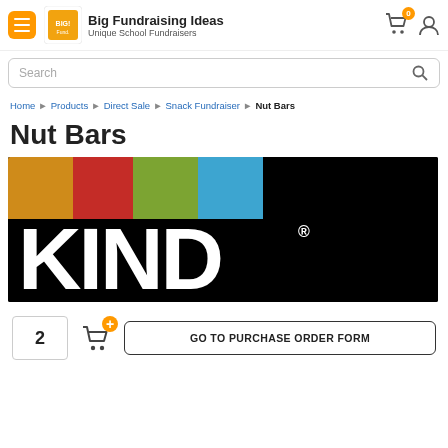Big Fundraising Ideas — Unique School Fundraisers
Search
Home ▶ Products ▶ Direct Sale ▶ Snack Fundraiser ▶ Nut Bars
Nut Bars
[Figure (logo): KIND bar brand logo with four colored panels (orange, red, green, blue) above the word KIND in large white text on black background]
2  GO TO PURCHASE ORDER FORM